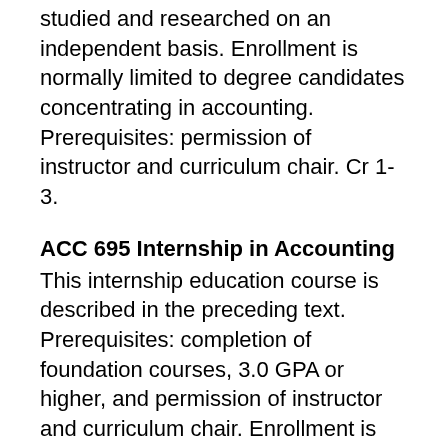studied and researched on an independent basis. Enrollment is normally limited to degree candidates concentrating in accounting. Prerequisites: permission of instructor and curriculum chair. Cr 1-3.
ACC 695 Internship in Accounting
This internship education course is described in the preceding text. Prerequisites: completion of foundation courses, 3.0 GPA or higher, and permission of instructor and curriculum chair. Enrollment is normally limited to degree candidates concentrating in accounting. A maximum of three credits of ACC 695 may be used toward the degree. Cr 1-3.
ACC 699 Special Topics in Accounting
Prerequisites vary. Cr 3.